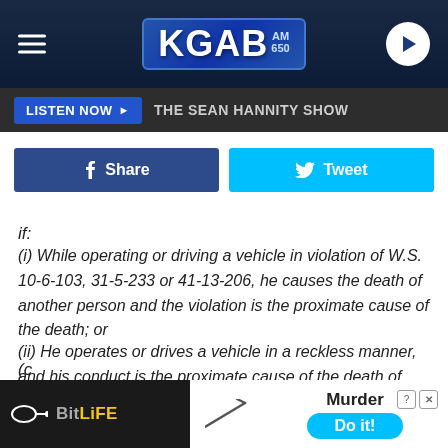[Figure (screenshot): KGAB AM 650 radio station website header with logo, hamburger menu, and play button]
LISTEN NOW ▶  THE SEAN HANNITY SHOW
[Figure (screenshot): Facebook Share and Twitter Tweet social sharing buttons]
if:
(i) While operating or driving a vehicle in violation of W.S. 10-6-103, 31-5-233 or 41-13-206, he causes the death of another person and the violation is the proximate cause of the death; or
(ii) He operates or drives a vehicle in a reckless manner, and his conduct is the proximate cause of the death of another person.
(c
[Figure (screenshot): BitLife advertisement overlay with Murder Do it! prompt]